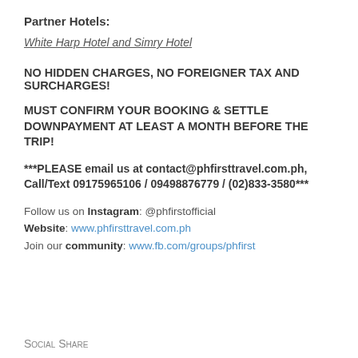Partner Hotels:
White Harp Hotel and Simry Hotel
NO HIDDEN CHARGES, NO FOREIGNER TAX AND SURCHARGES!
MUST CONFIRM YOUR BOOKING & SETTLE DOWNPAYMENT AT LEAST A MONTH BEFORE THE TRIP!
***PLEASE email us at contact@phfirsttravel.com.ph, Call/Text 09175965106 / 09498876779 / (02)833-3580***
Follow us on Instagram: @phfirstofficial
Website: www.phfirsttravel.com.ph
Join our community: www.fb.com/groups/phfirst
Social Share